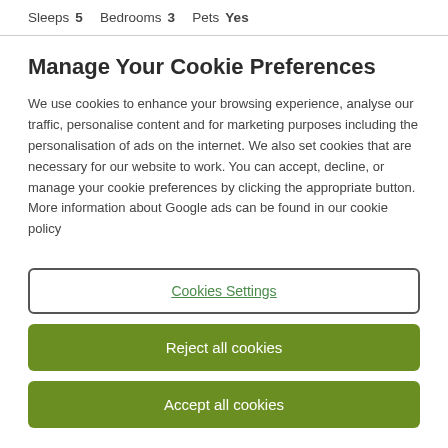Sleeps 5   Bedrooms 3   Pets Yes
Manage Your Cookie Preferences
We use cookies to enhance your browsing experience, analyse our traffic, personalise content and for marketing purposes including the personalisation of ads on the internet. We also set cookies that are necessary for our website to work. You can accept, decline, or manage your cookie preferences by clicking the appropriate button. More information about Google ads can be found in our cookie policy
Cookies Settings
Reject all cookies
Accept all cookies